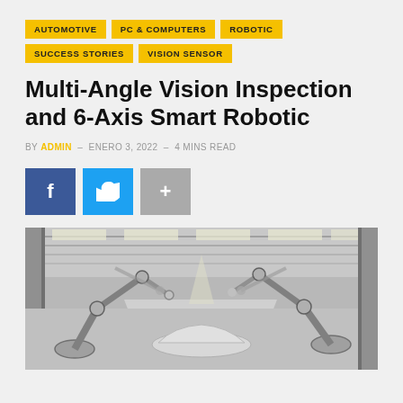AUTOMOTIVE · PC & COMPUTERS · ROBOTIC · SUCCESS STORIES · VISION SENSOR
Multi-Angle Vision Inspection and 6-Axis Smart Robotic
BY ADMIN – ENERO 3, 2022 – 4 MINS READ
[Figure (other): Social sharing buttons: Facebook (f), Twitter (bird icon), Plus (+)]
[Figure (photo): Black and white photo of a robotic arm assembly line in an automotive factory, with multiple robotic arms positioned above a car on a conveyor belt, industrial ceiling with skylights in the background.]